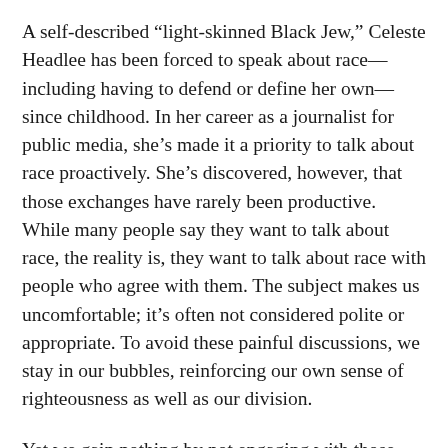A self-described “light-skinned Black Jew,” Celeste Headlee has been forced to speak about race—including having to defend or define her own—since childhood. In her career as a journalist for public media, she’s made it a priority to talk about race proactively. She’s discovered, however, that those exchanges have rarely been productive. While many people say they want to talk about race, the reality is, they want to talk about race with people who agree with them. The subject makes us uncomfortable; it’s often not considered polite or appropriate. To avoid these painful discussions, we stay in our bubbles, reinforcing our own sense of righteousness as well as our division.
Yet we gain nothing by not engaging with those disagree with; empathy does not develop in a va and racism won’t just fade away. If we are to effec